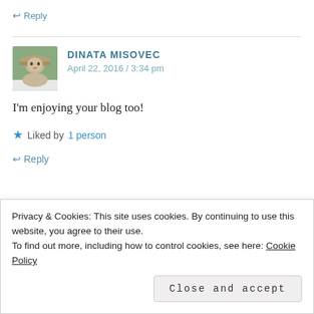↩ Reply
DINATA MISOVEC
April 22, 2016 / 3:34 pm
I'm enjoying your blog too!
★ Liked by 1 person
↩ Reply
Privacy & Cookies: This site uses cookies. By continuing to use this website, you agree to their use.
To find out more, including how to control cookies, see here: Cookie Policy
Close and accept
link: